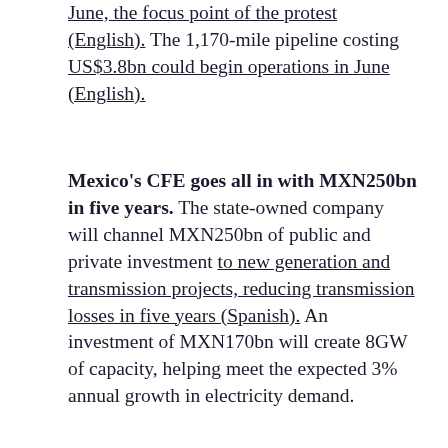June, the focus point of the protest (English). The 1,170-mile pipeline costing US$3.8bn could begin operations in June (English).
Mexico's CFE goes all in with MXN250bn in five years. The state-owned company will channel MXN250bn of public and private investment to new generation and transmission projects, reducing transmission losses in five years (Spanish). An investment of MXN170bn will create 8GW of capacity, helping meet the expected 3% annual growth in electricity demand.